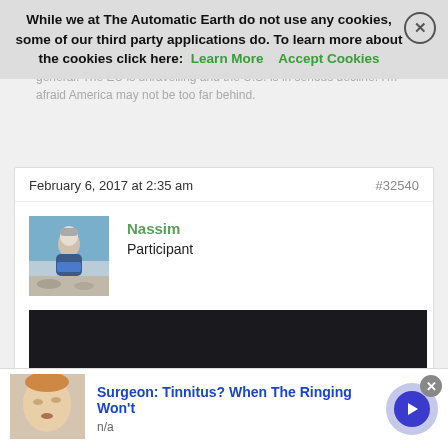…that seems to be happening in western capitalist countries in general. The EU is unravelling and the U.S. is in serious decline. I'm afraid America may not be too far behind.
While we at The Automatic Earth do not use any cookies, some of our third party applications do. To learn more about the cookies click here: Learn More  Accept Cookies
February 6, 2017 at 2:35 am
#32540
Nassim
Participant
[Figure (photo): Avatar photo of user Nassim — elderly man standing near water/beach]
[Figure (screenshot): Embedded dark video player area]
Surgeon: Tinnitus? When The Ringing Won't
n/a
[Figure (photo): Advertisement thumbnail showing a person's face (ad for tinnitus remedy)]